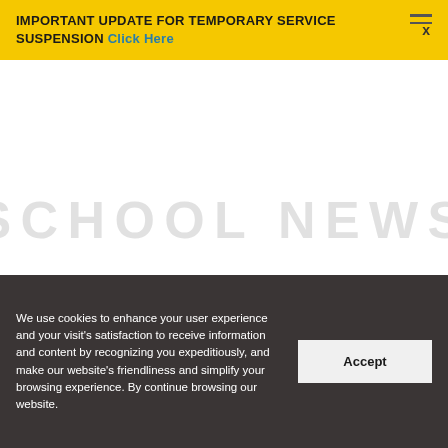IMPORTANT UPDATE FOR TEMPORARY SERVICE SUSPENSION Click Here
SCHOOL NEWS
We use cookies to enhance your user experience and your visit's satisfaction to receive information and content by recognizing you expeditiously, and make our website's friendliness and simplify your browsing experience. By continue browsing our website.